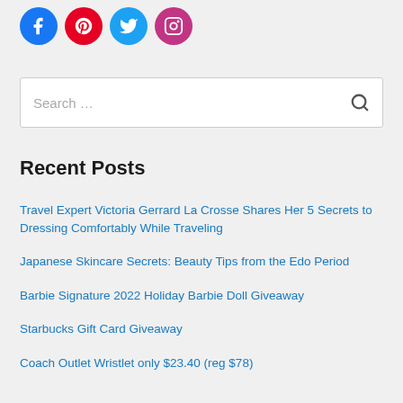[Figure (illustration): Four social media icons in circles: Facebook (blue), Pinterest (red/pink), Twitter (light blue), Instagram (magenta/purple)]
[Figure (screenshot): Search bar with placeholder text 'Search ...' and a search icon on the right]
Recent Posts
Travel Expert Victoria Gerrard La Crosse Shares Her 5 Secrets to Dressing Comfortably While Traveling
Japanese Skincare Secrets: Beauty Tips from the Edo Period
Barbie Signature 2022 Holiday Barbie Doll Giveaway
Starbucks Gift Card Giveaway
Coach Outlet Wristlet only $23.40 (reg $78)